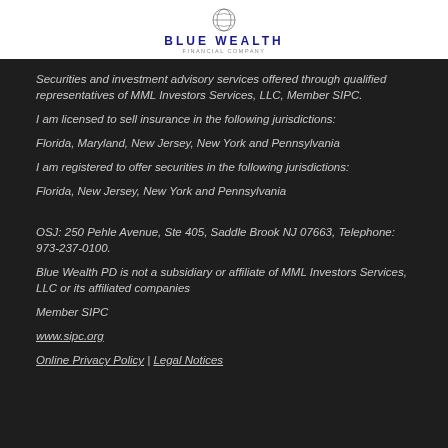BLUE WEALTH
Securities and investment advisory services offered through qualified representatives of MML Investors Services, LLC, Member SIPC.
I am licensed to sell insurance in the following jurisdictions:
Florida, Maryland, New Jersey, New York and Pennsylvania
I am registered to offer securities in the following jurisdictions:
Florida, New Jersey, New York and Pennsylvania
OSJ:  250 Pehle Avenue, Ste 405, Saddle Brook NJ  07663, Telephone: 973-237-0100.
Blue Wealth PD is not a subsidiary or affiliate of MML Investors Services, LLC or its affiliated companies
Member SIPC
www.sipc.org
Online Privacy Policy | Legal Notices